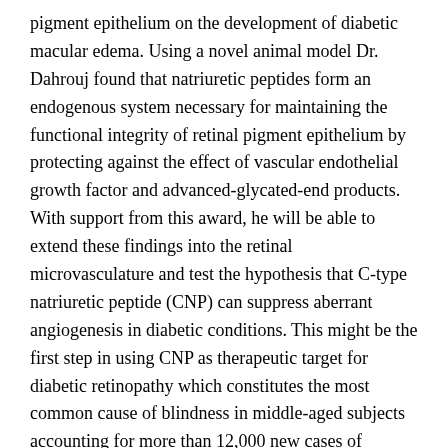pigment epithelium on the development of diabetic macular edema. Using a novel animal model Dr. Dahrouj found that natriuretic peptides form an endogenous system necessary for maintaining the functional integrity of retinal pigment epithelium by protecting against the effect of vascular endothelial growth factor and advanced-glycated-end products. With support from this award, he will be able to extend these findings into the retinal microvasculature and test the hypothesis that C-type natriuretic peptide (CNP) can suppress aberrant angiogenesis in diabetic conditions. This might be the first step in using CNP as therapeutic target for diabetic retinopathy which constitutes the most common cause of blindness in middle-aged subjects accounting for more than 12,000 new cases of blindness in the United States each year.
Dr. Dahrouj will complete this project under the mentorship of Leo Kim, MD, PhD, a retina surgeon and leader and expert in the field of angiogenesis and diabetic retinopathy.
See also: Awards, Diabetic Eye Disease, Trainees